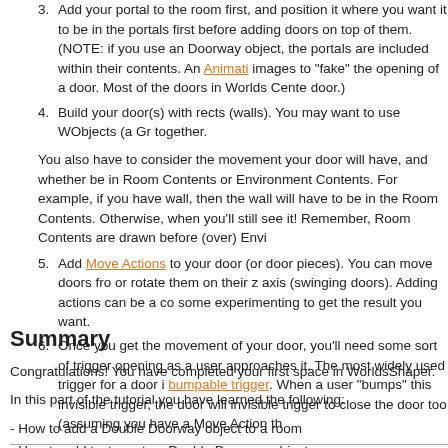3. Add your portal to the room first, and position it where you want it to be in the portals first before adding doors on top of them. (NOTE: if you use an Doorway object, the portals are included within their contents. An Animati... images to "fake" the opening of a door. Most of the doors in Worlds Cente... door.)
4. Build your door(s) with rects (walls). You may want to use WObjects (a Gr... together.
You also have to consider the movement your door will have, and whether be in Room Contents or Environment Contents. For example, if you have wall, then the wall will have to be in the Room Contents. Otherwise, when you'll still see it! Remember, Room Contents are drawn before (over) Envi...
5. Add Move Actions to your door (or door pieces). You can move doors fro... or rotate them on their z axis (swinging doors). Adding actions can be a c... some experimenting to get the result you want.
6. Once you get the movement of your door, you'll need some sort of trigger opening as a user approaches it. The most widely used trigger for a door i... bumpable trigger. When a user "bumps" this invisible trigger, the door will invisible trigger to close the door too (assuming you have a Move Action th...
Summary
Congratulations! You have completed your first space in WorldsShaper.
In this part of the tutorial you have learned the following:
- How to add a Double Doorway object to a room
- How to add textures to a Double Doorway object